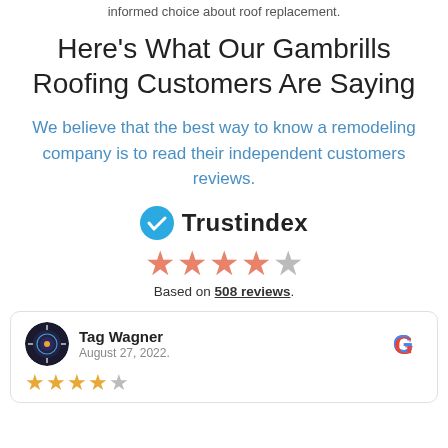informed choice about roof replacement.
Here's What Our Gambrills Roofing Customers Are Saying
We believe that the best way to know a remodeling company is to read their independent customers reviews.
[Figure (logo): Trustindex logo with blue checkmark circle and bold text 'Trustindex', followed by 4.5 out of 5 salmon-colored star rating, and text 'Based on 508 reviews.']
Based on 508 reviews.
Tag Wagner
August 27, 2022.